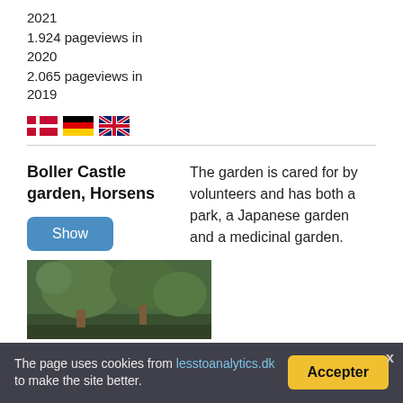2021
1.924 pageviews in 2020
2.065 pageviews in 2019
[Figure (illustration): Three flag icons: Danish flag, German flag, UK flag]
Boller Castle garden, Horsens
The garden is cared for by volunteers and has both a park, a Japanese garden and a medicinal garden.
[Figure (photo): Outdoor photo of garden/trees area]
The page uses cookies from lesstoanalytics.dk to make the site better.